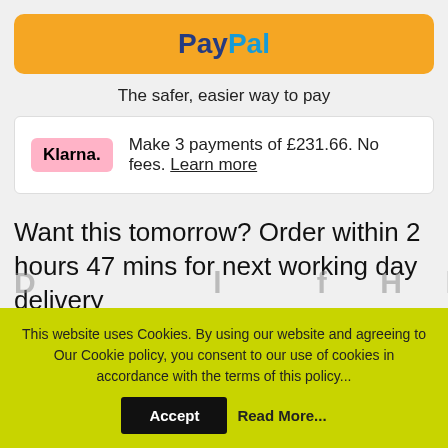[Figure (logo): PayPal logo on orange/yellow rounded rectangle banner]
The safer, easier way to pay
Klarna. Make 3 payments of £231.66. No fees. Learn more
Want this tomorrow? Order within 2 hours 47 mins for next working day delivery
This website uses Cookies. By using our website and agreeing to Our Cookie policy, you consent to our use of cookies in accordance with the terms of this policy...
Accept   Read More...